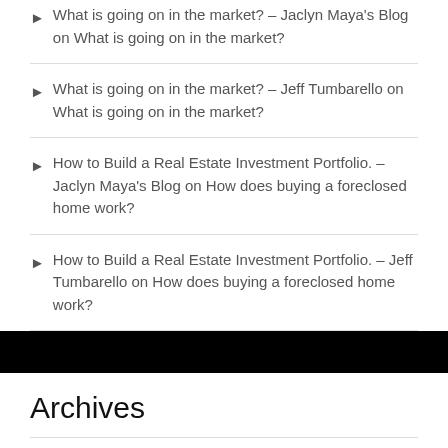What is going on in the market? – Jaclyn Maya's Blog on What is going on in the market?
What is going on in the market? – Jeff Tumbarello on What is going on in the market?
How to Build a Real Estate Investment Portfolio. – Jaclyn Maya's Blog on How does buying a foreclosed home work?
How to Build a Real Estate Investment Portfolio. – Jeff Tumbarello on How does buying a foreclosed home work?
Archives
August 2022
May 2022